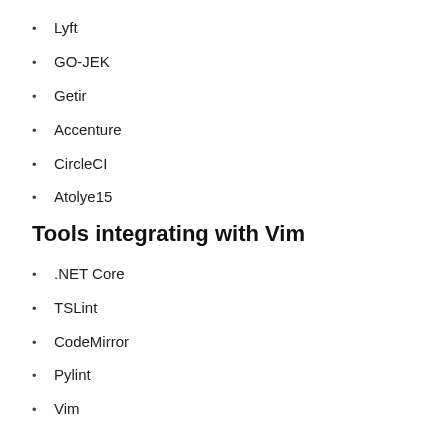Lyft
GO-JEK
Getir
Accenture
CircleCI
Atolye15
Tools integrating with Vim
.NET Core
TSLint
CodeMirror
Pylint
Vim